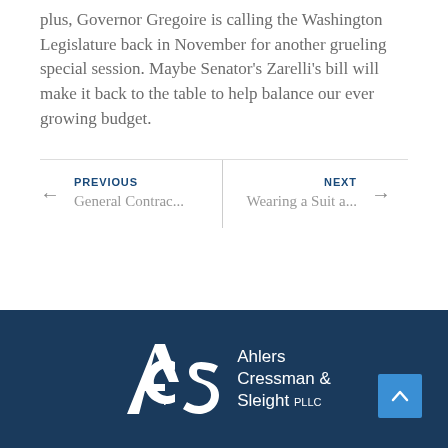plus, Governor Gregoire is calling the Washington Legislature back in November for another grueling special session. Maybe Senator's Zarelli's bill will make it back to the table to help balance our ever growing budget.
← PREVIOUS General Contrac...
NEXT → Wearing a Suit a...
[Figure (logo): ACS Ahlers Cressman & Sleight PLLC white logo on dark navy background footer]
Ahlers Cressman & Sleight PLLC